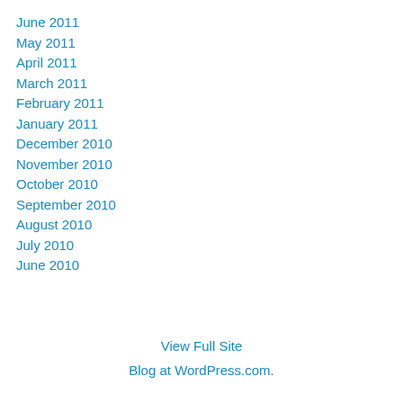June 2011
May 2011
April 2011
March 2011
February 2011
January 2011
December 2010
November 2010
October 2010
September 2010
August 2010
July 2010
June 2010
View Full Site
Blog at WordPress.com.